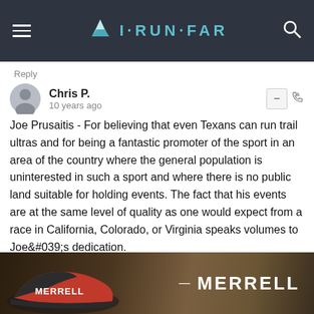I·RUN·FAR
Reply
Chris P.
10 years ago
Joe Prusaitis - For believing that even Texans can run trail ultras and for being a fantastic promoter of the sport in an area of the country where the general population is uninterested in such a sport and where there is no public land suitable for holding events. The fact that his events are at the same level of quality as one would expect from a race in California, Colorado, or Virginia speaks volumes to Joe&#039;s dedication.
Reply
S.Novak
[Figure (photo): Merrell shoe advertisement banner showing a trail running shoe on dirt ground with 'MERRELL' text on the right]